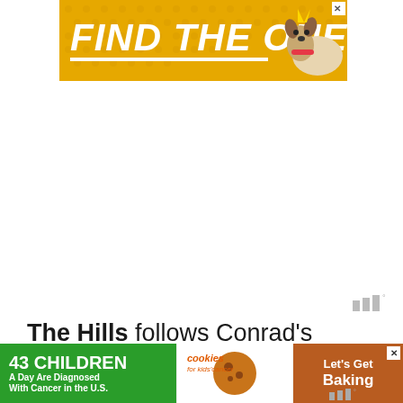[Figure (infographic): Orange advertisement banner reading FIND THE ONE with a dog illustration and close X button]
[Figure (infographic): Volume/audio watermark icon with bars and superscript circle]
The Hills follows Conrad's pursuit of the fashion industry, which gives her the chance to shine in the limelight while doing what she really loves. Her inclusion on the show also gives her the opportunity to flaunt her sense of fashion in an extensive level. Apart from her str...
[Figure (infographic): Bottom advertisement banner: 43 CHILDREN A Day Are Diagnosed With Cancer in the U.S. / cookies for kids cancer / Let's Get Baking]